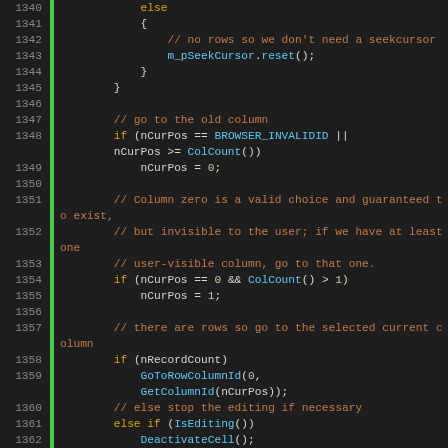[Figure (screenshot): Source code editor screenshot showing C++ code lines 1340-1368 with syntax highlighting. Line numbers on the left, green gutter bar, dark background. Keywords in orange/yellow, comments in orange-brown, function names in blue, plain code in white/gray.]